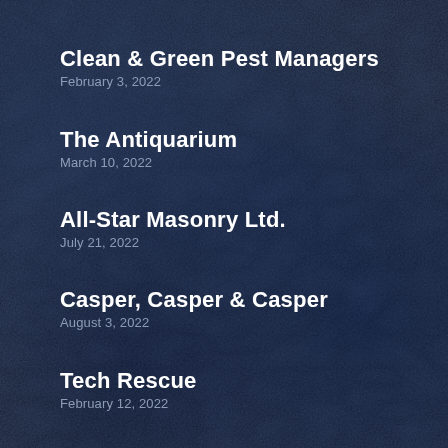Clean & Green Pest Managers
February 3, 2022
The Antiquarium
March 10, 2022
All-Star Masonry Ltd.
July 21, 2022
Casper, Casper & Casper
August 3, 2022
Tech Rescue
February 12, 2022